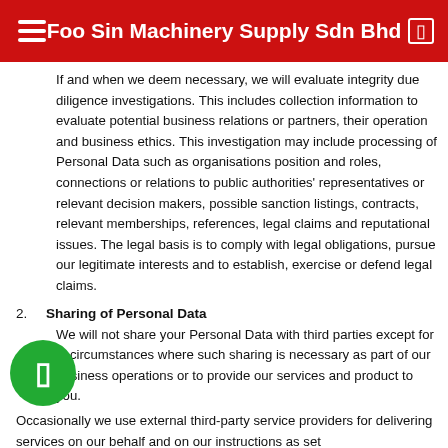Foo Sin Machinery Supply Sdn Bhd
If and when we deem necessary, we will evaluate integrity due diligence investigations. This includes collection information to evaluate potential business relations or partners, their operation and business ethics. This investigation may include processing of Personal Data such as organisations position and roles, connections or relations to public authorities' representatives or relevant decision makers, possible sanction listings, contracts, relevant memberships, references, legal claims and reputational issues. The legal basis is to comply with legal obligations, pursue our legitimate interests and to establish, exercise or defend legal claims.
2. Sharing of Personal Data
We will not share your Personal Data with third parties except for in circumstances where such sharing is necessary as part of our business operations or to provide our services and [products] to you.
Occasionally we use external third-party service providers for delivering services on our behalf and on our instructions as set...